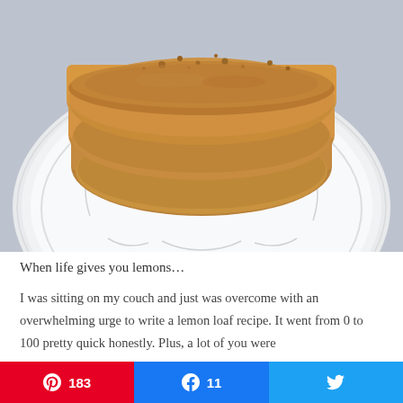[Figure (photo): Overhead photo of sliced lemon loaf bread on a white decorative plate against a light gray marble background. The bread slices are golden-brown with a crumbly top.]
When life gives you lemons…
I was sitting on my couch and just was overcome with an overwhelming urge to write a lemon loaf recipe. It went from 0 to 100 pretty quick honestly. Plus, a lot of you were
Pinterest 183 | Facebook 11 | Twitter